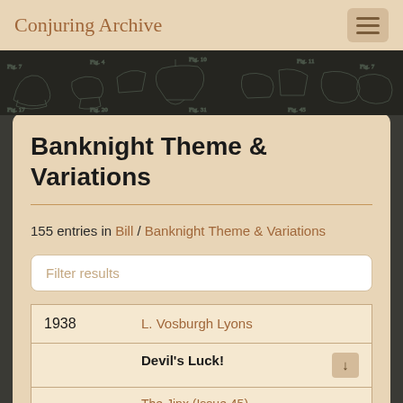Conjuring Archive
[Figure (illustration): Dark banner with hand-drawn magic/conjuring apparatus sketches in white chalk style on dark background]
Banknight Theme & Variations
155 entries in Bill / Banknight Theme & Variations
| Year | Author/Title/Source |
| --- | --- |
| 1938 | L. Vosburgh Lyons |
|  | Devil's Luck! |
|  | The Jinx (Issue 45) |